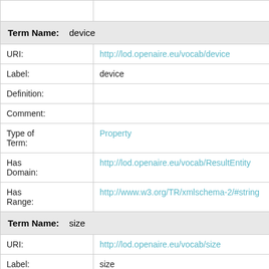| Term Name: | device |
| URI: | http://lod.openaire.eu/vocab/device |
| Label: | device |
| Definition: |  |
| Comment: |  |
| Type of Term: | Property |
| Has Domain: | http://lod.openaire.eu/vocab/ResultEntity |
| Has Range: | http://www.w3.org/TR/xmlschema-2/#string |
| Term Name: | size |
| URI: | http://lod.openaire.eu/vocab/size |
| Label: | size |
| Definition: |  |